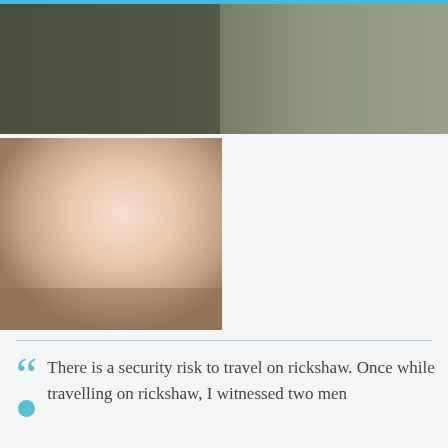[Figure (photo): Wide banner image with olive-green to sage gradient, landscape orientation at top of page]
[Figure (photo): Square portrait image with warm beige to tan gradient, left side of page below banner]
There is a security risk to travel on rickshaw. Once while travelling on rickshaw, I witnessed two men